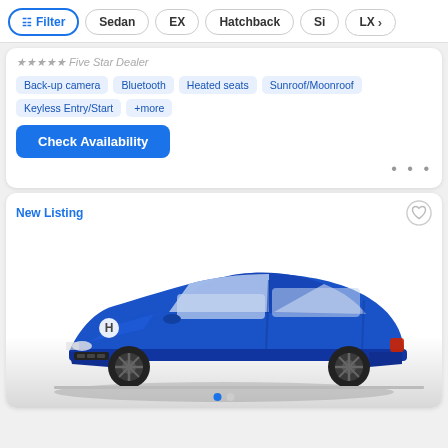Filter | Sedan | EX | Hatchback | Si | LX >
Five Star Dealer
Back-up camera
Bluetooth
Heated seats
Sunroof/Moonroof
Keyless Entry/Start
+more
Check Availability
New Listing
[Figure (photo): Blue Honda Civic sedan on white/grey background, front three-quarter view]